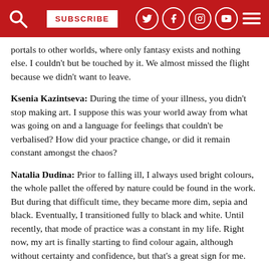SUBSCRIBE
portals to other worlds, where only fantasy exists and nothing else. I couldn't but be touched by it. We almost missed the flight because we didn't want to leave.
Ksenia Kazintseva: During the time of your illness, you didn't stop making art. I suppose this was your world away from what was going on and a language for feelings that couldn't be verbalised? How did your practice change, or did it remain constant amongst the chaos?
Natalia Dudina: Prior to falling ill, I always used bright colours, the whole pallet the offered by nature could be found in the work. But during that difficult time, they became more dim, sepia and black. Eventually, I transitioned fully to black and white. Until recently, that mode of practice was a constant in my life. Right now, my art is finally starting to find colour again, although without certainty and confidence, but that's a great sign for me.